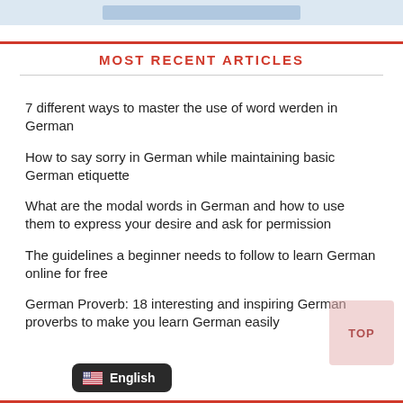[Figure (illustration): Top partial image strip with blue/light background element]
MOST RECENT ARTICLES
7 different ways to master the use of word werden in German
How to say sorry in German while maintaining basic German etiquette
What are the modal words in German and how to use them to express your desire and ask for permission
The guidelines a beginner needs to follow to learn German online for free
German Proverb: 18 interesting and inspiring German proverbs to make you learn German easily
[Figure (other): TOP back-to-top button, pink/red rounded rectangle]
[Figure (other): English language selector button with US flag]